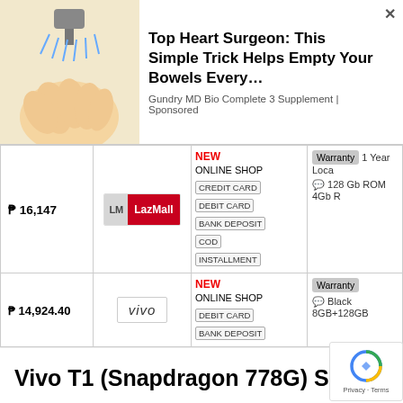[Figure (screenshot): Advertisement banner: illustration of a hand holding a shower head spraying water. Text reads 'Top Heart Surgeon: This Simple Trick Helps Empty Your Bowels Every...' with subtext 'Gundry MD Bio Complete 3 Supplement | Sponsored'. Has a close X button.]
| Price | Store | Payment Methods | Details |
| --- | --- | --- | --- |
| ₱ 16,147 | LazMall | NEW
ONLINE SHOP
CREDIT CARD
DEBIT CARD
BANK DEPOSIT
COD
INSTALLMENT | Warranty 1 Year Loca...
💬 128 Gb ROM 4Gb R... |
| ₱ 14,924.40 | vivo | NEW
ONLINE SHOP
DEBIT CARD
BANK DEPOSIT | Warranty
💬 Black 8GB+128GB |
Vivo T1 (Snapdragon 778G) Specs